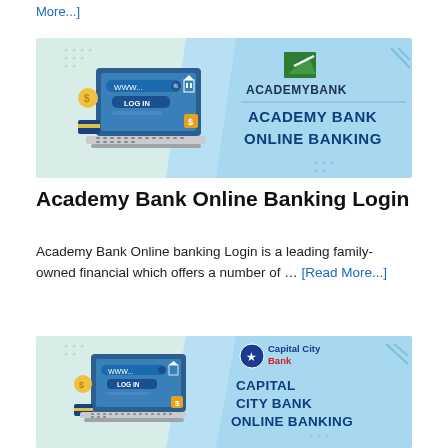[Read More...]
[Figure (illustration): Academy Bank Online Banking banner with laptop showing login screen on left, Academy Bank logo and 'ACADEMY BANK ONLINE BANKING' text on right blue background]
Academy Bank Online Banking Login
Academy Bank Online banking Login is a leading family-owned financial which offers a number of … [Read More...]
[Figure (illustration): Capital City Bank Online Banking banner with laptop showing login screen on left, Capital City Bank logo and 'CAPITAL CITY BANK ONLINE BANKING' text on right blue background]